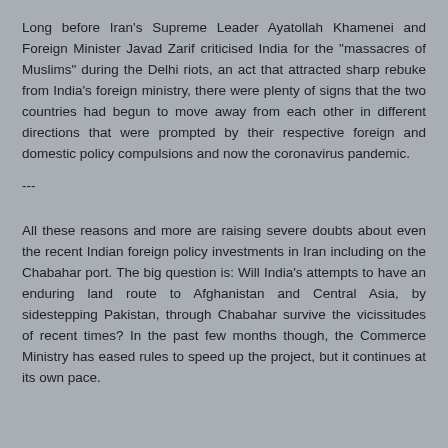Long before Iran's Supreme Leader Ayatollah Khamenei and Foreign Minister Javad Zarif criticised India for the "massacres of Muslims" during the Delhi riots, an act that attracted sharp rebuke from India's foreign ministry, there were plenty of signs that the two countries had begun to move away from each other in different directions that were prompted by their respective foreign and domestic policy compulsions and now the coronavirus pandemic.
---
All these reasons and more are raising severe doubts about even the recent Indian foreign policy investments in Iran including on the Chabahar port. The big question is: Will India's attempts to have an enduring land route to Afghanistan and Central Asia, by sidestepping Pakistan, through Chabahar survive the vicissitudes of recent times? In the past few months though, the Commerce Ministry has eased rules to speed up the project, but it continues at its own pace.